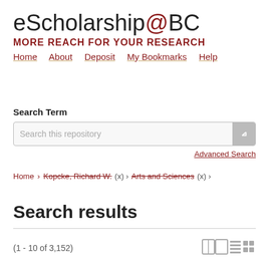eScholarship@BC
MORE REACH FOR YOUR RESEARCH
Home  About  Deposit  My Bookmarks  Help
Search Term
Search this repository
Advanced Search
Home › Kopcke, Richard W. (x) › Arts and Sciences (x) ›
Search results
(1 - 10 of 3,152)